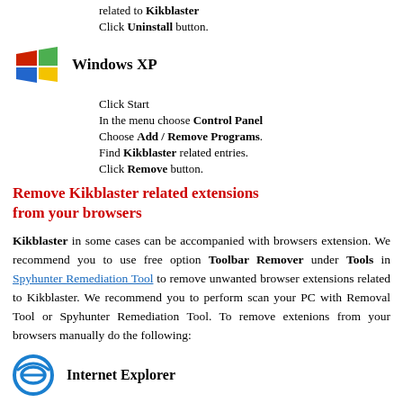related to Kikblaster
Click Uninstall button.
Windows XP
Click Start
In the menu choose Control Panel
Choose Add / Remove Programs.
Find Kikblaster related entries.
Click Remove button.
Remove Kikblaster related extensions from your browsers
Kikblaster in some cases can be accompanied with browsers extension. We recommend you to use free option Toolbar Remover under Tools in Spyhunter Remediation Tool to remove unwanted browser extensions related to Kikblaster. We recommend you to perform scan your PC with Removal Tool or Spyhunter Remediation Tool. To remove extenions from your browsers manually do the following:
Internet Explorer